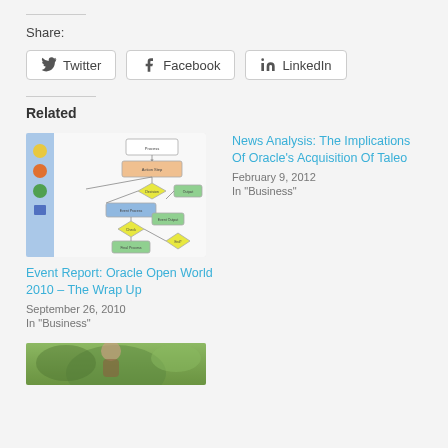Share:
[Figure (other): Social share buttons: Twitter, Facebook, LinkedIn]
Related
[Figure (flowchart): Oracle Open World 2010 flowchart diagram with process steps and decision diamonds]
Event Report: Oracle Open World 2010 – The Wrap Up
September 26, 2010
In "Business"
News Analysis: The Implications Of Oracle's Acquisition Of Taleo
February 9, 2012
In "Business"
[Figure (photo): Partial photo at bottom left, appears to show a person outdoors with green blurred background]